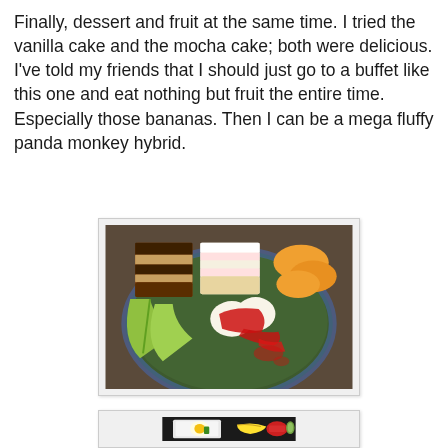Finally, dessert and fruit at the same time. I tried the vanilla cake and the mocha cake; both were delicious. I've told my friends that I should just go to a buffet like this one and eat nothing but fruit the entire time. Especially those bananas. Then I can be a mega fluffy panda monkey hybrid.
[Figure (photo): A plate with desserts and fruit: mocha layered cake slice, vanilla cake slice, green melon wedges, orange melon pieces, and ice cream scoops with red strawberry sauce on a decorative plate.]
[Figure (photo): A plate with food items including what appears to be an egg on white cloth/napkin, bananas, and other food items on a dark surface.]